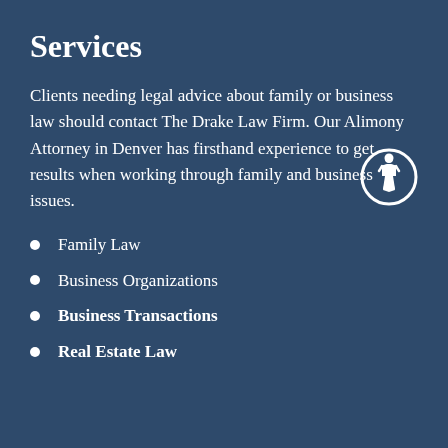Services
Clients needing legal advice about family or business law should contact The Drake Law Firm. Our Alimony Attorney in Denver has firsthand experience to get results when working through family and business issues.
Family Law
Business Organizations
Business Transactions
Real Estate Law